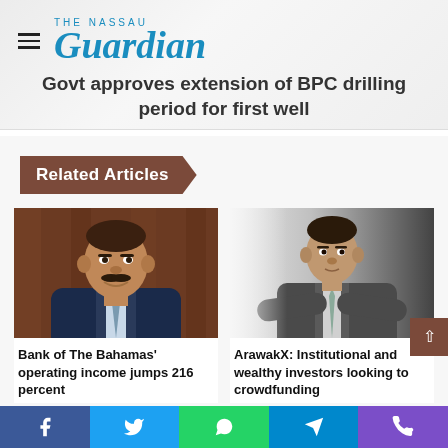The Nassau Guardian
Govt approves extension of BPC drilling period for first well
Related Articles
[Figure (photo): Portrait photo of a Black man with a mustache wearing a dark navy suit with a light blue tie, smiling, with a dark wooden background]
Bank of The Bahamas' operating income jumps 216 percent
[Figure (photo): Portrait photo of a man in a grey suit with arms crossed, fading in from light grey on left side, dark on right edge]
ArawakX: Institutional and wealthy investors looking to crowdfunding
Facebook  Twitter  WhatsApp  Telegram  Phone